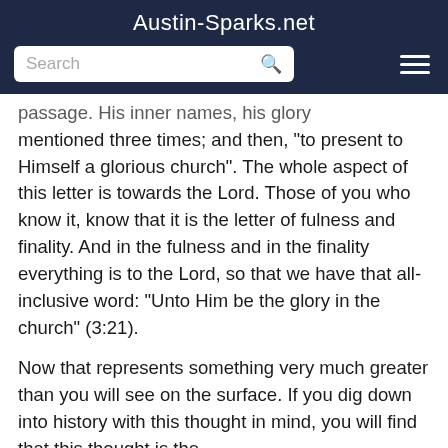Austin-Sparks.net
passage. His inner names, his glory mentioned three times; and then, "to present to Himself a glorious church". The whole aspect of this letter is towards the Lord. Those of you who know it, know that it is the letter of fulness and finality. And in the fulness and in the finality everything is to the Lord, so that we have that all-inclusive word: "Unto Him be the glory in the church" (3:21).
Now that represents something very much greater than you will see on the surface. If you dig down into history with this thought in mind, you will find that this thought is the